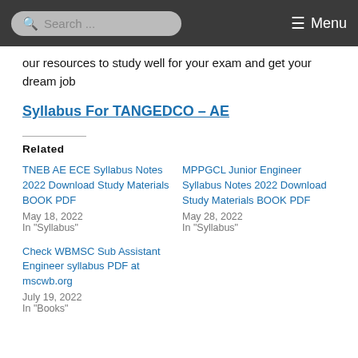Search ... Menu
our resources to study well for your exam and get your dream job
Syllabus For TANGEDCO – AE
Related
TNEB AE ECE Syllabus Notes 2022 Download Study Materials BOOK PDF
May 18, 2022
In "Syllabus"
MPPGCL Junior Engineer Syllabus Notes 2022 Download Study Materials BOOK PDF
May 28, 2022
In "Syllabus"
Check WBMSC Sub Assistant Engineer syllabus PDF at mscwb.org
July 19, 2022
In "Books"